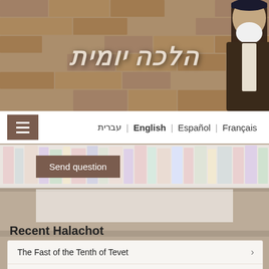[Figure (photo): Website header banner with stone wall background and a rabbi figure on the right, with Hebrew text 'הלכה יומית' (Daily Halacha) in stylized font]
הלכה יומית
עברית | English | Español | Français
Send question
Recent Halachot
The Fast of the Tenth of Tevet
Washing One's Hands for a Small Amount of Bread
Washing One's Hands After Visiting the Graves of Righteous Individuals
Parashat Vayigash - Yosef's Rebuke to His Brothers: